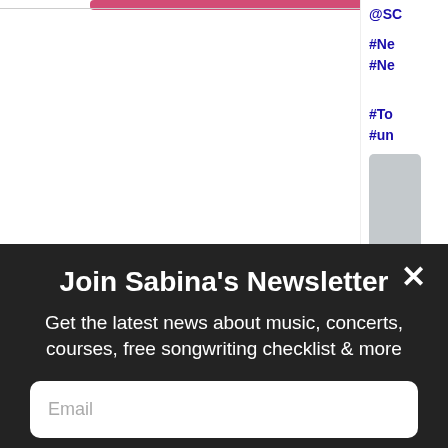[Figure (screenshot): Top portion of webpage showing white background with partial content visible, and a partial sidebar on the right with hashtag links: @SC, #Ne #Ne, #To #un, and a gray box element]
[Figure (photo): Dark background with a musician/performer photo partially visible behind the modal overlay]
Join Sabina's Newsletter
Get the latest news about music, concerts, courses, free songwriting checklist & more
Email
Subscribe